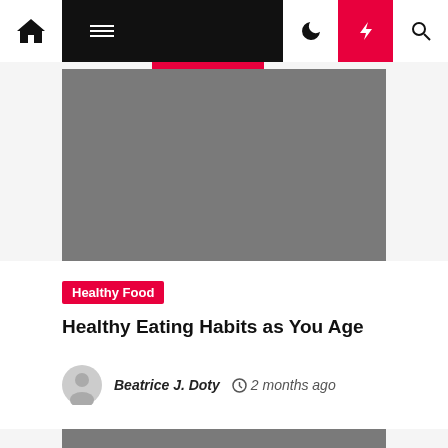Navigation bar with home, menu, dark mode, lightning, and search icons
[Figure (photo): Gray placeholder hero image]
Healthy Food
Healthy Eating Habits as You Age
Beatrice J. Doty  2 months ago
[Figure (photo): Gray placeholder thumbnail image at bottom]